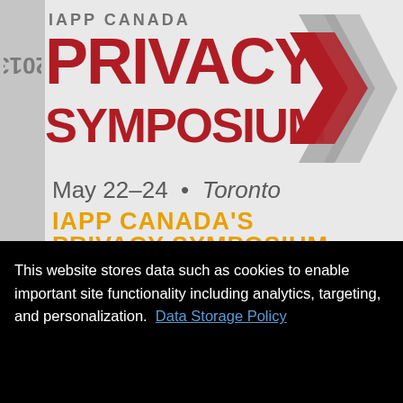[Figure (logo): 2013 IAPP Canada Privacy Symposium logo with red bold text 'PRIVACY SYMPOSIUM', grey chevrons/arrows on the right, and '2013' rotated vertically on the left side]
May 22–24 • Toronto
IAPP CANADA'S PRIVACY SYMPOSIUM
This website stores data such as cookies to enable important site functionality including analytics, targeting, and personalization. Data Storage Policy